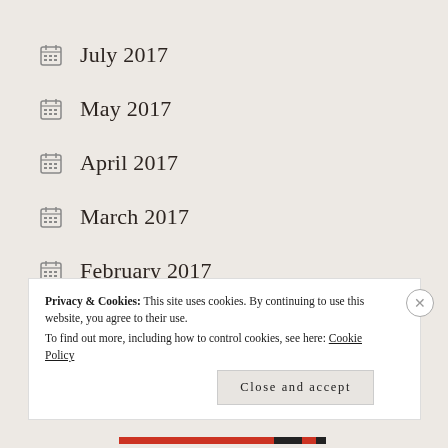July 2017
May 2017
April 2017
March 2017
February 2017
January 2017
Privacy & Cookies: This site uses cookies. By continuing to use this website, you agree to their use. To find out more, including how to control cookies, see here: Cookie Policy
Close and accept